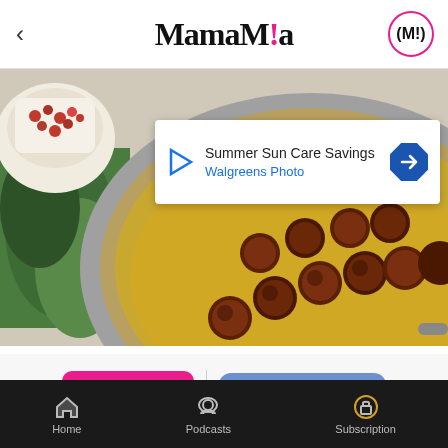MamaMia
[Figure (photo): Food photo showing meatballs cooking in a stainless steel frying pan with fresh parsley and a bowl of pomegranate seeds visible, with an advertisement overlay for 'Summer Sun Care Savings - Walgreens Photo']
Share | Leave a comment
All around the world, IKEA is best known for its maze of kitchen displays, frustrating flatpacks that lure you in
Home | Podcasts | Subscription